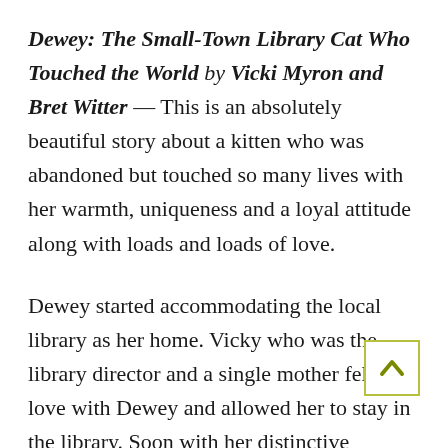Dewey: The Small-Town Library Cat Who Touched the World by Vicki Myron and Bret Witter — This is an absolutely beautiful story about a kitten who was abandoned but touched so many lives with her warmth, uniqueness and a loyal attitude along with loads and loads of love.

Dewey started accommodating the local library as her home. Vicky who was the library director and a single mother fell in love with Dewey and allowed her to stay in the library. Soon with her distinctive attitude,